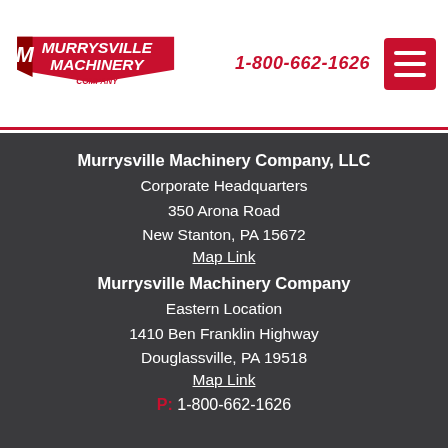Murrysville Machinery Company — 1-800-662-1626
Murrysville Machinery Company, LLC
Corporate Headquarters
350 Arona Road
New Stanton, PA 15672
Map Link
Murrysville Machinery Company
Eastern Location
1410 Ben Franklin Highway
Douglasville, PA 19518
Map Link
P: 1-800-662-1626